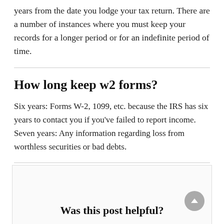years from the date you lodge your tax return. There are a number of instances where you must keep your records for a longer period or for an indefinite period of time.
How long keep w2 forms?
Six years: Forms W-2, 1099, etc. because the IRS has six years to contact you if you've failed to report income. Seven years: Any information regarding loss from worthless securities or bad debts.
Was this post helpful?